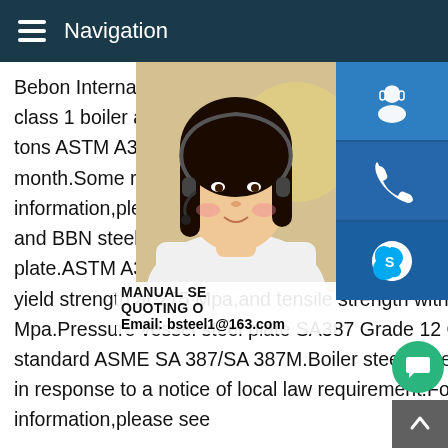Navigation
Bebon International is a professional ASTM A387 Gr12 CL1,A387 grade12 class 1 boiler and plate steel exporter and a steel Stockist in than 1000 tons ASTM A387/A387M A387 class 1 boiler and pressure vessel steel pl month.Some results are removed in respo law requirement.For more information,plea here.Previous123456NextASTM A387 Gr1 class 1 boiler and BBN steel offer ASTM A steel plates,A387 grade 12 class 1 pressu plate.ASTM A387 Gr12 CL1 pressure vessel steel plate owned minimum yield strength at 275 Mpa,and tensile strength within 450-585 Mpa.Pressure vessel steel plate SA387 Grade 12 CL 1 is in American standard ASME SA 387/SA 387M.Boiler steel plateS results are removed in response to a notice of local law requirement.For more information,please see
[Figure (photo): Customer service representative woman with headset]
[Figure (infographic): Blue sidebar icons: headset/support icon, phone icon, Skype icon]
MANUAL SE QUOTING O Email: bsteel1@163.com